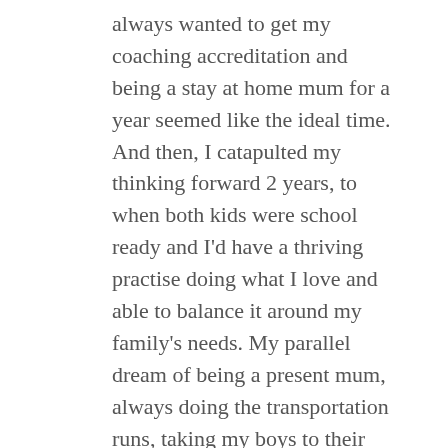always wanted to get my coaching accreditation and being a stay at home mum for a year seemed like the ideal time. And then, I catapulted my thinking forward 2 years, to when both kids were school ready and I'd have a thriving practise doing what I love and able to balance it around my family's needs. My parallel dream of being a present mum, always doing the transportation runs, taking my boys to their classes and clubs, play dates etc. I figured that setting up the business would only take a few years of no sleep and being a mum to a newborn, when I made the decisions I was already well sleep deprived, so why not? And it has been the best career decision I could have made.